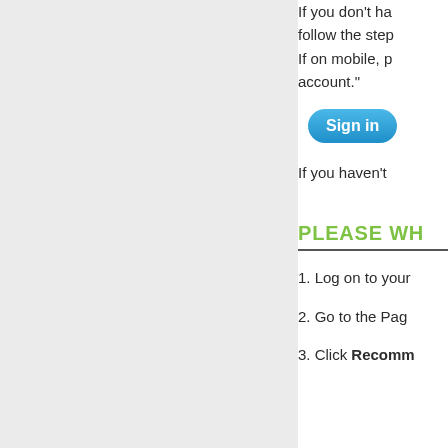If you don't ha follow the step If on mobile, p account."
[Figure (other): Blue rounded button labeled 'Sign in']
If you haven't
PLEASE WH
1. Log on to your
2. Go to the Pag
3. Click Recomm